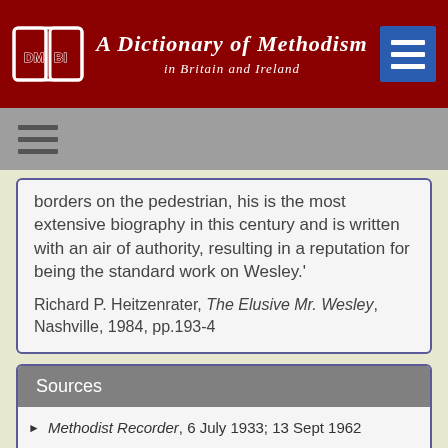A Dictionary of Methodism in Britain and Ireland
borders on the pedestrian, his is the most extensive biography in this century and is written with an air of authority, resulting in a reputation for being the standard work on Wesley.'
Richard P. Heitzenrater, The Elusive Mr. Wesley, Nashville, 1984, pp.193-4
Sources
Methodist Recorder, 6 July 1933; 13 Sept 1962
G.E. Harrison in J.S. Simon, John Wesley, the Last Phase (1934) pp.9-17 (reprinted in Methodist Good Companions (1935)